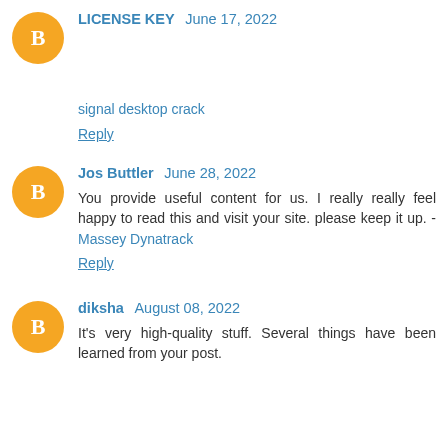LICENSE KEY  June 17, 2022
signal desktop crack
Reply
Jos Buttler  June 28, 2022
You provide useful content for us. I really really feel happy to read this and visit your site. please keep it up. - Massey Dynatrack
Reply
diksha  August 08, 2022
It's very high-quality stuff. Several things have been learned from your post.